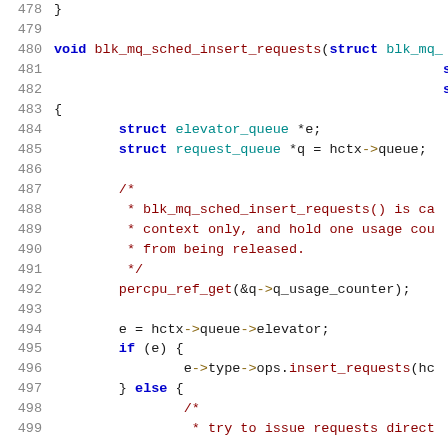Source code listing lines 478-499, showing blk_mq_sched_insert_requests function in C